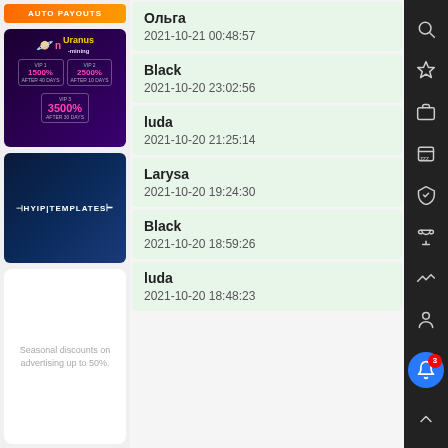[Figure (screenshot): Auto payouts orange banner ad]
[Figure (screenshot): Uranus Mining VIP advertisement showing 1500%, 2500%, 3500% returns]
[Figure (screenshot): HYIP Templates dark blue advertisement banner]
Seasonal discounts on advertising up to 50%.
Ольга
2021-10-21 00:48:57
Black
2021-10-20 23:02:56
luda
2021-10-20 21:25:14
Larysa
2021-10-20 19:24:30
Black
2021-10-20 18:59:26
luda
2021-10-20 18:48:23